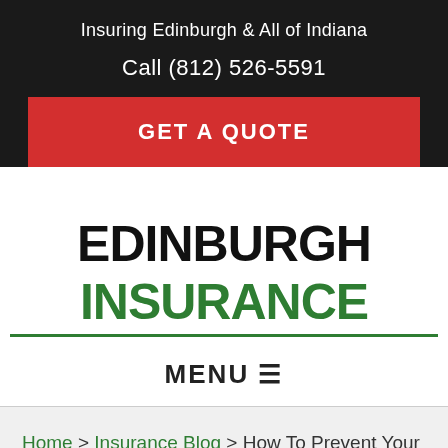Insuring Edinburgh & All of Indiana
Call (812) 526-5591
GET A QUOTE
[Figure (logo): Edinburgh Insurance logo with EDINBURGH in black bold and INSURANCE in green bold, underlined in green]
MENU ☰
Home > Insurance Blog > How To Prevent Your Business From Being Hacked